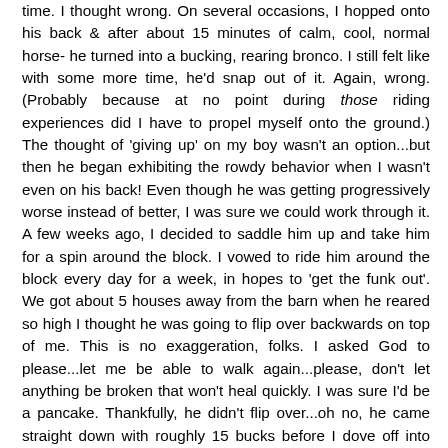time. I thought wrong. On several occasions, I hopped onto his back & after about 15 minutes of calm, cool, normal horse- he turned into a bucking, rearing bronco. I still felt like with some more time, he'd snap out of it. Again, wrong. (Probably because at no point during those riding experiences did I have to propel myself onto the ground.) The thought of 'giving up' on my boy wasn't an option...but then he began exhibiting the rowdy behavior when I wasn't even on his back! Even though he was getting progressively worse instead of better, I was sure we could work through it. A few weeks ago, I decided to saddle him up and take him for a spin around the block. I vowed to ride him around the block every day for a week, in hopes to 'get the funk out'. We got about 5 houses away from the barn when he reared so high I thought he was going to flip over backwards on top of me. This is no exaggeration, folks. I asked God to please...let me be able to walk again...please, don't let anything be broken that won't heal quickly. I was sure I'd be a pancake. Thankfully, he didn't flip over...oh no, he came straight down with roughly 15 bucks before I dove off into someone's front yard. (Thanks for the padded-sod, neighbors!) He stopped when I landed and looked me right in